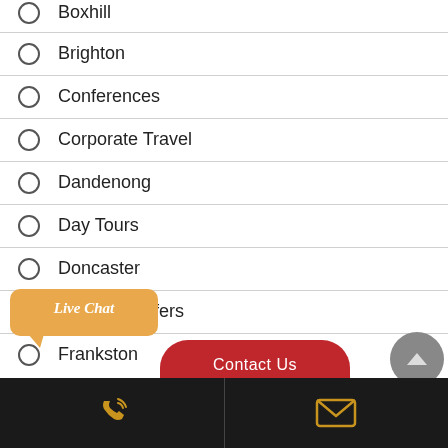Boxhill
Brighton
Conferences
Corporate Travel
Dandenong
Day Tours
Doncaster
Event Transfers
Frankston
[Figure (other): Live Chat speech bubble button in orange/gold color]
[Figure (other): Contact Us red rounded button]
[Figure (other): Scroll up grey circle button]
Phone icon | Email icon